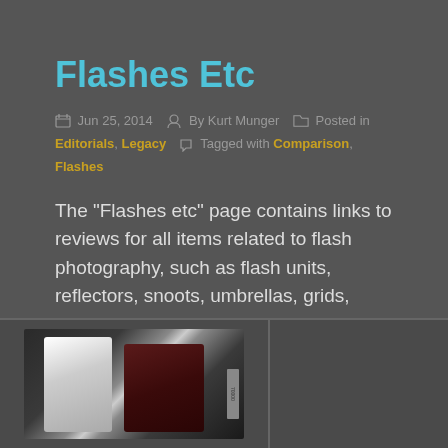Flashes Etc
Jun 25, 2014  By Kurt Munger  Posted in Editorials, Legacy  Tagged with Comparison, Flashes
The “Flashes etc” page contains links to reviews for all items related to flash photography, such as flash units, reflectors, snoots, umbrellas, grids, stands, off-camera triggers and more.
[Figure (photo): Two camera flash units side by side, one white/silver and one dark red/brown, photographed against a dark background.]